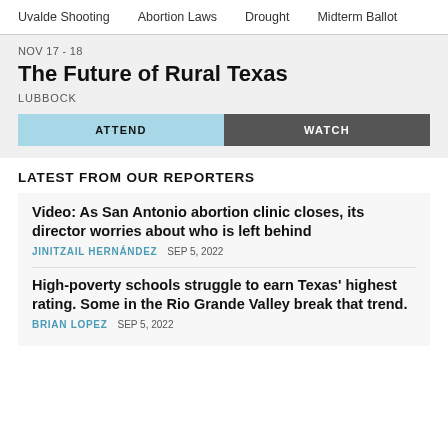Uvalde Shooting   Abortion Laws   Drought   Midterm Ballot
NOV 17 - 18
The Future of Rural Texas
LUBBOCK
ATTEND   WATCH
LATEST FROM OUR REPORTERS
Video: As San Antonio abortion clinic closes, its director worries about who is left behind
JINITZAIL HERNÁNDEZ   SEP 5, 2022
High-poverty schools struggle to earn Texas' highest rating. Some in the Rio Grande Valley break that trend.
BRIAN LOPEZ   SEP 5, 2022